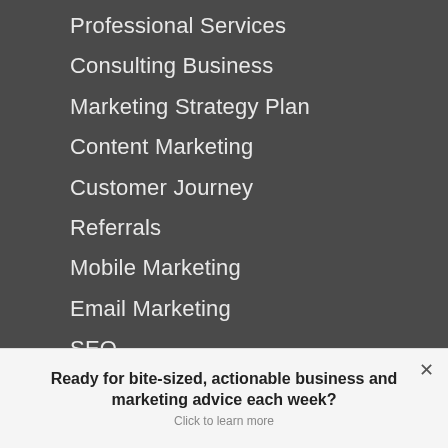Professional Services
Consulting Business
Marketing Strategy Plan
Content Marketing
Customer Journey
Referrals
Mobile Marketing
Email Marketing
SEO
Paid Search
Social Media
CRM
Marketing Automation
Ready for bite-sized, actionable business and marketing advice each week?
Click to learn more